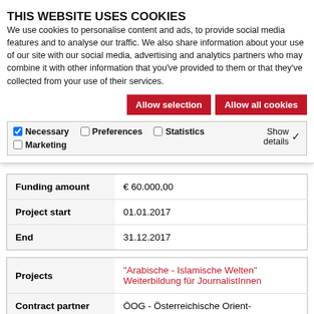THIS WEBSITE USES COOKIES
We use cookies to personalise content and ads, to provide social media features and to analyse our traffic. We also share information about your use of our site with our social media, advertising and analytics partners who may combine it with other information that you've provided to them or that they've collected from your use of their services.
Allow selection | Allow all cookies
Necessary  Preferences  Statistics  Marketing  Show details
| Funding amount | € 60.000,00 |
| Project start | 01.01.2017 |
| End | 31.12.2017 |
| Projects | "Arabische - Islamische Welten" Weiterbildung für JournalistInnen |
| Contract partner | ÖOG - Österreichische Orient- |